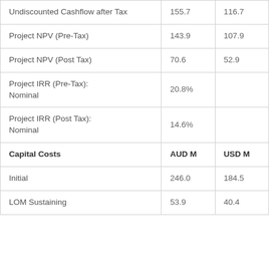|  | AUD M | USD M |
| --- | --- | --- |
| Undiscounted Cashflow after Tax | 155.7 | 116.7 |
| Project NPV (Pre-Tax) | 143.9 | 107.9 |
| Project NPV (Post Tax) | 70.6 | 52.9 |
| Project IRR (Pre-Tax): Nominal | 20.8% |  |
| Project IRR (Post Tax): Nominal | 14.6% |  |
| Capital Costs | AUD M | USD M |
| Initial | 246.0 | 184.5 |
| LOM Sustaining | 53.9 | 40.4 |